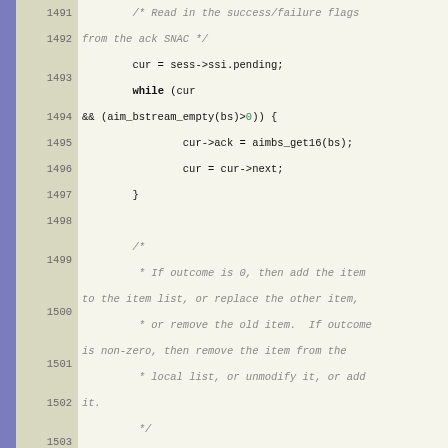[Figure (screenshot): Source code viewer showing C code lines 1491-1511 with line numbers in a beige gutter and code on a light background. Comments are shown in italic gray, keywords in bold, and numeric literals in teal/green.]